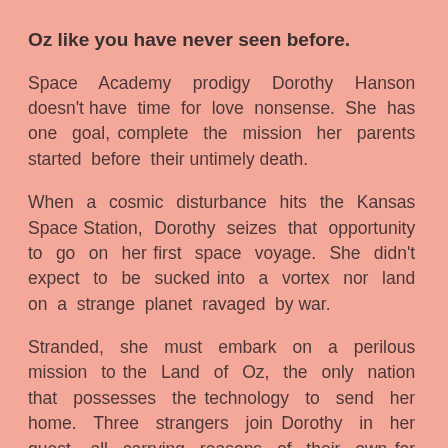Oz like you have never seen before.
Space Academy prodigy Dorothy Hanson doesn't have time for love nonsense. She has one goal, complete the mission her parents started before their untimely death.
When a cosmic disturbance hits the Kansas Space Station, Dorothy seizes that opportunity to go on her first space voyage. She didn't expect to be sucked into a vortex nor land on a strange planet ravaged by war.
Stranded, she must embark on a perilous mission to the Land of Oz, the only nation that possesses the technology to send her home. Three strangers join Dorothy in her quest, all carrying reasons of their own for reaching Emerald City. A man without memories marked with a strange symbol on his face. A cyborg...